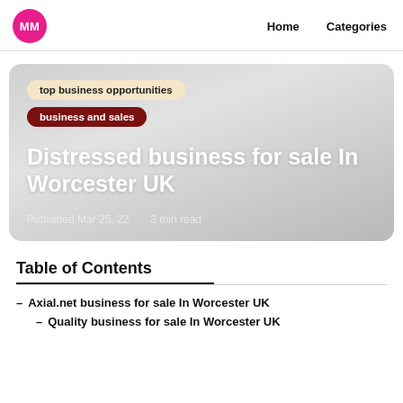MM   Home   Categories
[Figure (screenshot): Hero card with gradient background showing category tags 'top business opportunities' and 'business and sales', article title 'Distressed business for sale In Worcester UK', published date Mar 25, 22 and 3 min read]
Table of Contents
– Axial.net business for sale In Worcester UK
– Quality business for sale In Worcester UK